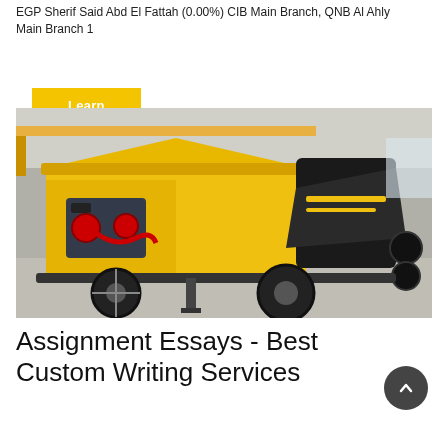EGP Sherif Said Abd El Fattah (0.00%) CIB Main Branch, QNB Al Ahly Main Branch 1
Learn More
[Figure (photo): A yellow concrete pump machine on a trailer with large wheels, open hood showing engine, in an industrial building with concrete floor and overhead crane.]
Assignment Essays - Best Custom Writing Services